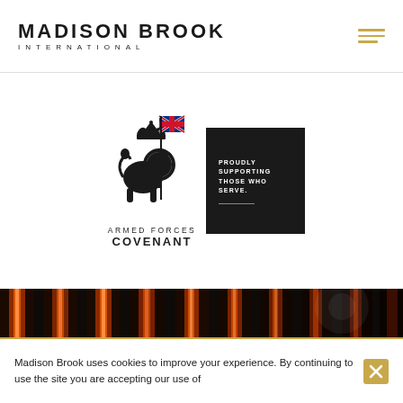MADISON BROOK INTERNATIONAL
[Figure (logo): Armed Forces Covenant logo with lion holding flag, text ARMED FORCES COVENANT, alongside black box reading PROUDLY SUPPORTING THOSE WHO SERVE.]
[Figure (photo): Close-up photo of orange/red glowing industrial or architectural elements with dark vertical fins, dramatic amber lighting.]
Madison Brook uses cookies to improve your experience. By continuing to use the site you are accepting our use of